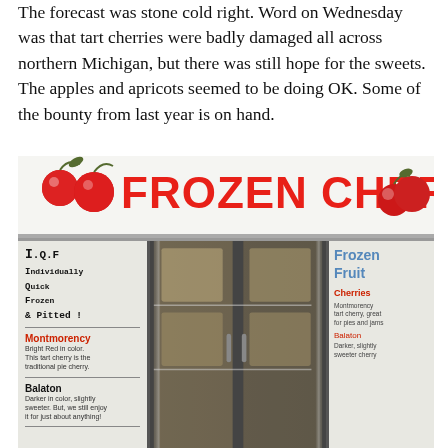The forecast was stone cold right. Word on Wednesday was that tart cherries were badly damaged all across northern Michigan, but there was still hope for the sweets. The apples and apricots seemed to be doing OK. Some of the bounty from last year is on hand.
[Figure (photo): A commercial freezer display case with a 'FROZEN CHERRIES' sign on top. The sign features red cherries graphic and large red text. The freezer has glass doors showing frozen products inside. On the left door is a sign explaining I.Q.F (Individually Quick Frozen & Pitted) with Montmorency and Balaton cherry varieties described. On the right door is a 'Frozen Fruit' sign in blue letters.]